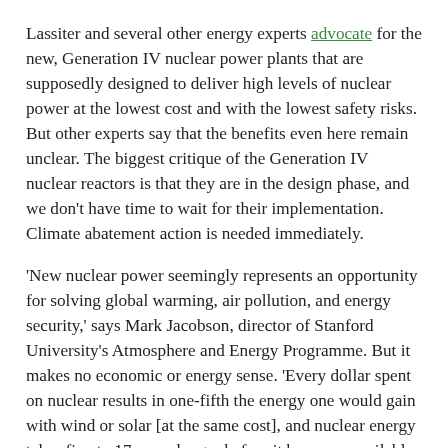Lassiter and several other energy experts advocate for the new, Generation IV nuclear power plants that are supposedly designed to deliver high levels of nuclear power at the lowest cost and with the lowest safety risks. But other experts say that the benefits even here remain unclear. The biggest critique of the Generation IV nuclear reactors is that they are in the design phase, and we don't have time to wait for their implementation. Climate abatement action is needed immediately.
'New nuclear power seemingly represents an opportunity for solving global warming, air pollution, and energy security,' says Mark Jacobson, director of Stanford University's Atmosphere and Energy Programme. But it makes no economic or energy sense. 'Every dollar spent on nuclear results in one-fifth the energy one would gain with wind or solar [at the same cost], and nuclear energy takes five to 17 years longer before it becomes available. As such, it is impossible for nuclear to help